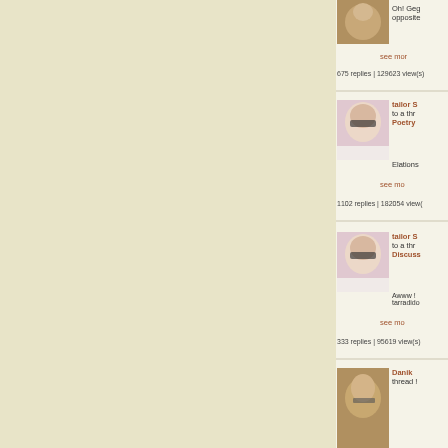[Figure (photo): Animal/pet avatar thumbnail - partial view at top]
Oh! Geg opposite
see more
675 replies | 129623 view(s)
[Figure (photo): Man with sunglasses avatar thumbnail]
tailor S to a thr Poetry
Elations
see more
1102 replies | 182054 view(
[Figure (photo): Man with sunglasses avatar thumbnail]
tailor S to a thr Discuss
Awww ! tarradido
see more
333 replies | 95619 view(s)
[Figure (photo): Sloth avatar thumbnail]
Danik thread !